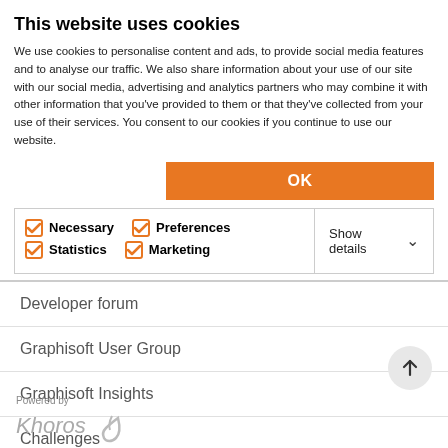This website uses cookies
We use cookies to personalise content and ads, to provide social media features and to analyse our traffic. We also share information about your use of our site with our social media, advertising and analytics partners who may combine it with other information that you've provided to them or that they've collected from your use of their services. You consent to our cookies if you continue to use our website.
| ☑ Necessary  ☑ Preferences  ☑ Statistics  ☑ Marketing | Show details ∨ |
Developer forum
Graphisoft User Group
Graphisoft Insights
Challenges
Powered by
[Figure (logo): Khoros logo with stylized arrow icon]